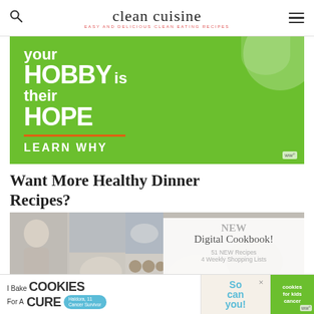clean cuisine — EASY AND DELICIOUS CLEAN EATING RECIPES
[Figure (advertisement): Green advertisement banner: 'your HOBBY is their HOPE — LEARN WHY']
Want More Healthy Dinner Recipes?
[Figure (infographic): Collage of food photos and cookbook promo: 'NEW Digital Cookbook! 51 NEW Recipes 4 Weekly Shopping Lists']
[Figure (advertisement): Bottom ad banner: 'I Bake COOKIES For A CURE — Haldora, 11 Cancer Survivor — So can you! — cookies for kids cancer']